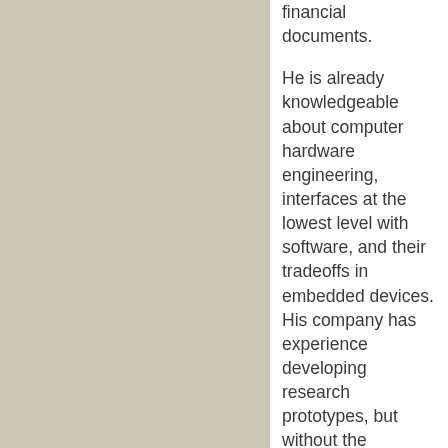financial documents. He is already knowledgeable about computer hardware engineering, interfaces at the lowest level with software, and their tradeoffs in embedded devices. His company has experience developing research prototypes, but without the stringent security requirements for actual field usage linked to government identification databases. His sales have only been a few individual experimental units,